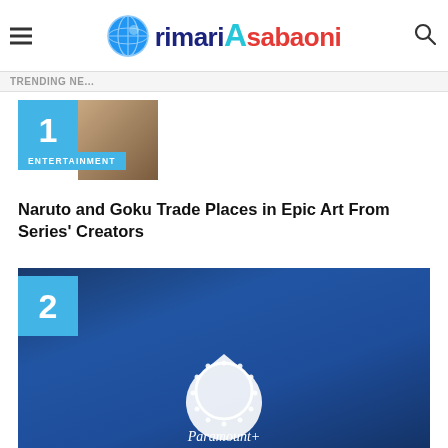rimari Asabaoni
TRENDING NE...
[Figure (photo): Thumbnail image for article 1 with number badge '1' and ENTERTAINMENT tag]
Naruto and Goku Trade Places in Epic Art From Series' Creators
[Figure (photo): Paramount+ promotional image with number badge '2' and ENTERTAINMENT tag showing various TV show posters on a blue background with Paramount+ logo in center]